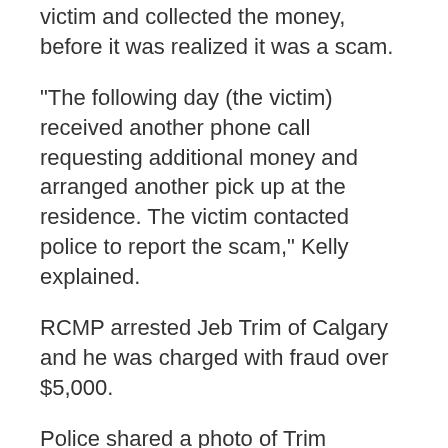victim and collected the money, before it was realized it was a scam.
"The following day (the victim) received another phone call requesting additional money and arranged another pick up at the residence. The victim contacted police to report the scam," Kelly explained.
RCMP arrested Jeb Trim of Calgary and he was charged with fraud over $5,000.
Police shared a photo of Trim because they believe he may have defrauded other people.
Trim was released from custody but is scheduled to appear in Sherwood Park Provincial Court on June 1.